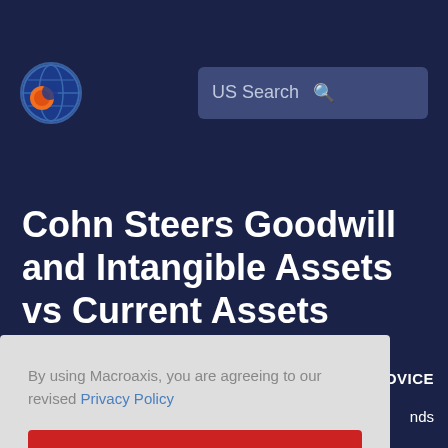US Search
Cohn Steers Goodwill and Intangible Assets vs Current Assets Analysis
By using Macroaxis, you are agreeing to our revised Privacy Policy
OK